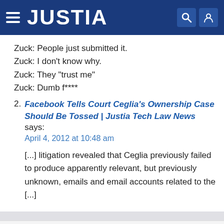JUSTIA
Zuck: People just submitted it.
Zuck: I don’t know why.
Zuck: They “trust me”
Zuck: Dumb f****
2. Facebook Tells Court Ceglia’s Ownership Case Should Be Tossed | Justia Tech Law News says:
April 4, 2012 at 10:48 am
[...] litigation revealed that Ceglia previously failed to produce apparently relevant, but previously unknown, emails and email accounts related to the [...]
PREVIOUS POST | HOME | NEXT POST